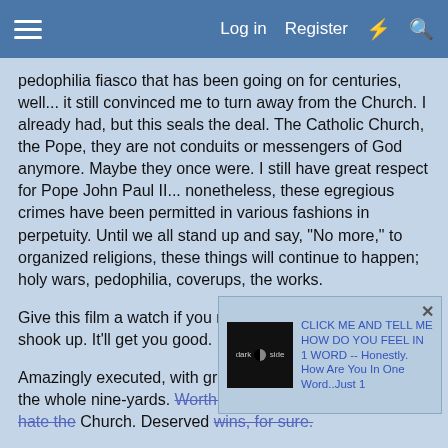Log in  Register
pedophilia fiasco that has been going on for centuries, well... it still convinced me to turn away from the Church. I already had, but this seals the deal. The Catholic Church, the Pope, they are not conduits or messengers of God anymore. Maybe they once were. I still have great respect for Pope John Paul II... nonetheless, these egregious crimes have been permitted in various fashions in perpetuity. Until we all stand up and say, "No more," to organized religions, these things will continue to happen; holy wars, pedophilia, coverups, the works.
Give this film a watch if you need your Catholic faith shook up. It'll get you good.
Amazingly executed, with great pacing, fantastic acting, the whole nine-yards. Worth a watch even if you already hate the Church. Deserved wins, for sure.
8/10
[Figure (screenshot): Popup advertisement with a dark side logo thumbnail and text: CLICK ME AND TELL ME HOW DO YOU FEEL IN 1 WORD -- Honestly. How Are You In One Word..Just 1]